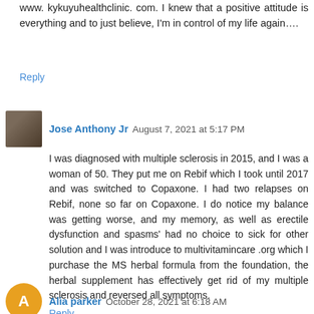www. kykuyuhealthclinic. com. I knew that a positive attitude is everything and to just believe, I'm in control of my life again….
Reply
Jose Anthony Jr  August 7, 2021 at 5:17 PM
I was diagnosed with multiple sclerosis in 2015, and I was a woman of 50. They put me on Rebif which I took until 2017 and was switched to Copaxone. I had two relapses on Rebif, none so far on Copaxone. I do notice my balance was getting worse, and my memory, as well as erectile dysfunction and spasms' had no choice to sick for other solution and I was introduce to multivitamincare .org which I purchase the MS herbal formula from the foundation, the herbal supplement has effectively get rid of my multiple sclerosis and reversed all symptoms.
Reply
Alia parker  October 28, 2021 at 6:18 AM